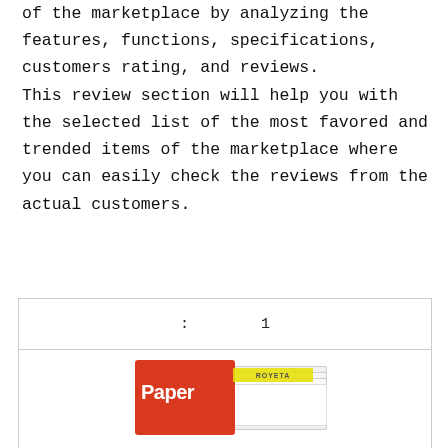of the marketplace by analyzing the features, functions, specifications, customers rating, and reviews. This review section will help you with the selected list of the most favored and trended items of the marketplace where you can easily check the reviews from the actual customers.
| : 1 |
| --- |
| [product image] |